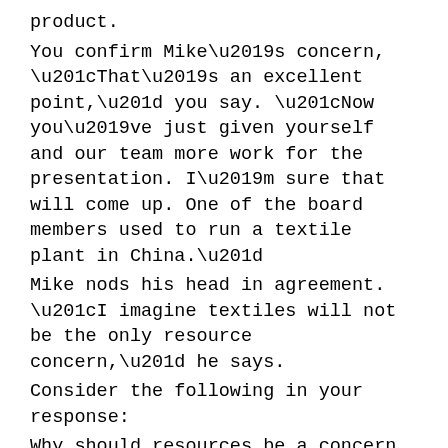product.
You confirm Mike’s concern, “That’s an excellent point,” you say. “Now you’ve just given yourself and our team more work for the presentation. I’m sure that will come up. One of the board members used to run a textile plant in China.”
Mike nods his head in agreement. “I imagine textiles will not be the only resource concern,” he says.
Consider the following in your response:
Why should resources be a concern in a global strategy?
What resources may be a concern in the country you selected?
How will this impact the decision to move to the country that you selected?